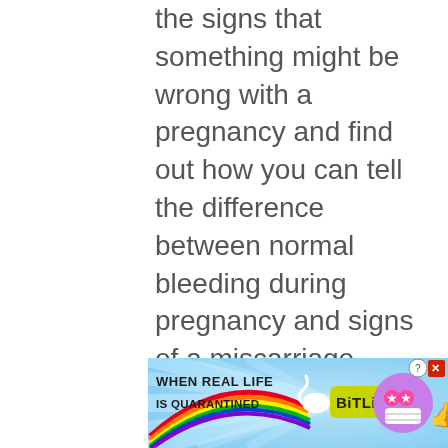the signs that something might be wrong with a pregnancy and find out how you can tell the difference between normal bleeding during pregnancy and signs of a miscarriage.
[Figure (screenshot): Advertisement banner for BitLife mobile game. Rainbow background with rays, text 'WHEN REAL LIFE IS QUARANTINED' on the left, sperm icon graphic, 'BitLife' logo in yellow/green, and a star-eyed emoji with mask on the right. Help and close buttons in top right corner.]